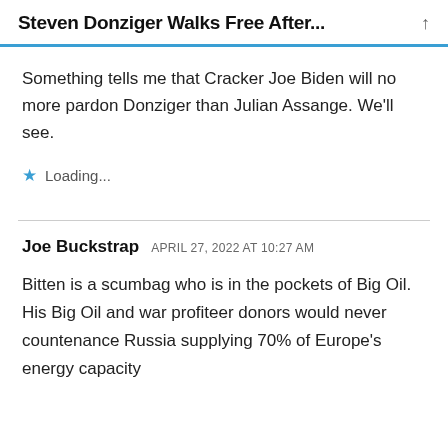Steven Donziger Walks Free After...
Something tells me that Cracker Joe Biden will no more pardon Donziger than Julian Assange. We'll see.
Loading...
Joe Buckstrap  APRIL 27, 2022 AT 10:27 AM
Bitten is a scumbag who is in the pockets of Big Oil. His Big Oil and war profiteer donors would never countenance Russia supplying 70% of Europe's energy capacity